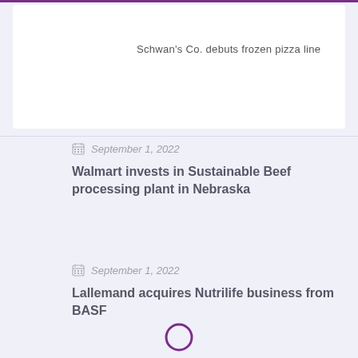Schwan's Co. debuts frozen pizza line
September 1, 2022
Walmart invests in Sustainable Beef processing plant in Nebraska
September 1, 2022
Lallemand acquires Nutrilife business from BASF